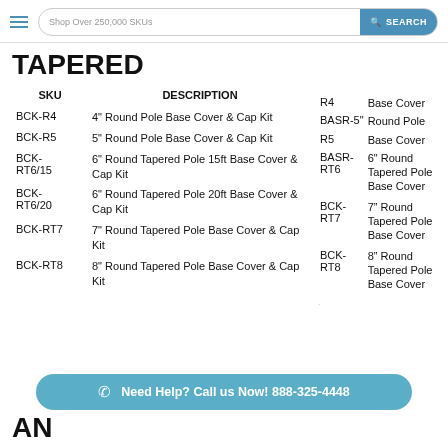Shop Over 250,000 SKUs  SEARCH
TAPERED
| SKU | DESCRIPTION |
| --- | --- |
| BCK-R4 | 4" Round Pole Base Cover & Cap Kit |
| BCK-R5 | 5" Round Pole Base Cover & Cap Kit |
| BCK-RT6/15 | 6" Round Tapered Pole 15ft Base Cover & Cap Kit |
| BCK-RT6/20 | 6" Round Tapered Pole 20ft Base Cover & Cap Kit |
| BCK-RT7 | 7" Round Tapered Pole Base Cover & Cap Kit |
| BCK-RT8 | 8" Round Tapered Pole Base Cover & Cap Kit |
| SKU | DESCRIPTION |
| --- | --- |
| R4 | Base Cover |
| BASR-5" | Round Pole |
| R5 | Base Cover |
| BASR-RT6 | 6" Round Tapered Pole Base Cover |
| BCK-RT7 | 7" Round Tapered Pole Base Cover |
| BCK-RT8 | 8" Round Tapered Pole Base Cover |
Need Help? Call us Now! 888-325-4448
AN